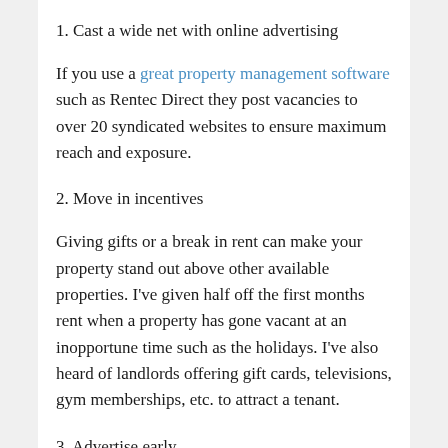1. Cast a wide net with online advertising
If you use a great property management software such as Rentec Direct they post vacancies to over 20 syndicated websites to ensure maximum reach and exposure.
2. Move in incentives
Giving gifts or a break in rent can make your property stand out above other available properties. I've given half off the first months rent when a property has gone vacant at an inopportune time such as the holidays. I've also heard of landlords offering gift cards, televisions, gym memberships, etc. to attract a tenant.
3. Advertise early